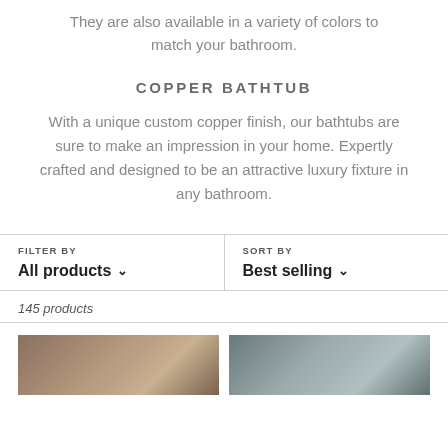They are also available in a variety of colors to match your bathroom.
COPPER BATHTUB
With a unique custom copper finish, our bathtubs are sure to make an impression in your home. Expertly crafted and designed to be an attractive luxury fixture in any bathroom.
FILTER BY  All products ∨  |  SORT BY  Best selling ∨
145 products
[Figure (photo): Two product thumbnail photos side by side at the bottom of the page showing copper bathtubs]